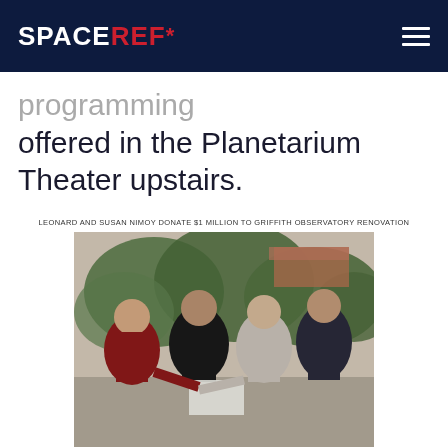SPACEREF*
offered in the Planetarium Theater upstairs.
LEONARD AND SUSAN NIMOY DONATE $1 MILLION TO GRIFFITH OBSERVATORY RENOVATION
[Figure (photo): Four people standing outdoors posing together, one holding what appears to be a check or envelope. Greenery and a building visible in the background. Related to Leonard and Susan Nimoy donation to Griffith Observatory renovation.]